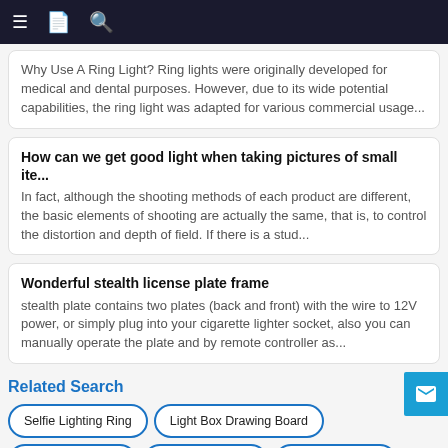Navigation bar with menu, bookmark, and search icons
Why Use A Ring Light? Ring lights were originally developed for medical and dental purposes. However, due to its wide potential capabilities, the ring light was adapted for various commercial usage...
How can we get good light when taking pictures of small ite...
In fact, although the shooting methods of each product are different, the basic elements of shooting are actually the same, that is, to control the distortion and depth of field. If there is a stud...
Wonderful stealth license plate frame
stealth plate contains two plates (back and front) with the wire to 12V power, or simply plug into your cigarette lighter socket, also you can manually operate the plate and by remote controller as...
Related Search
Selfie Lighting Ring
Light Box Drawing Board
Strong Ring Light
Vanity Ring Light
Lamp Ring Light
Ring Light Selfie Stick
Led Lamp Therapy